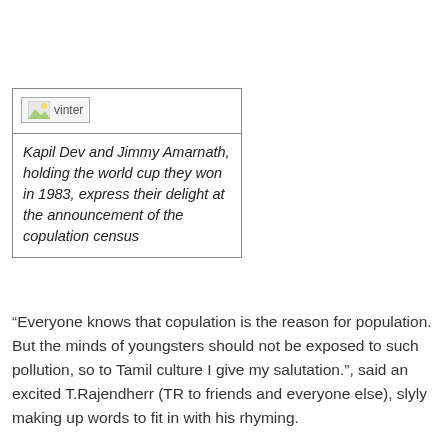[Figure (photo): Broken image placeholder labeled 'vinter']
Kapil Dev and Jimmy Amarnath, holding the world cup they won in 1983, express their delight at the announcement of the copulation census
“Everyone knows that copulation is the reason for population. But the minds of youngsters should not be exposed to such pollution, so to Tamil culture I give my salutation.", said an excited T.Rajendherr (TR to friends and everyone else), slyly making up words to fit in with his rhyming.